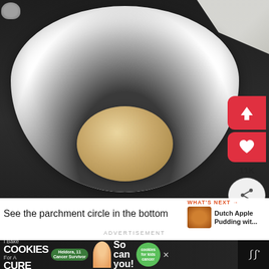[Figure (photo): Photo of a white bowl on a dark countertop with a ball of pale dough at the bottom, viewed from above. A small silver cup is visible top-left and a paper towel top-right. Social sharing buttons (upload arrow, heart, share) appear on the right side with a count of 11K.]
See the parchment circle in the bottom
WHAT'S NEXT → Dutch Apple Pudding wit...
ADVERTISEMENT
I Bake COOKIES For A CURE  Heldora, 11 Cancer Survivor  So can you!  cookies for kids cancer  ×